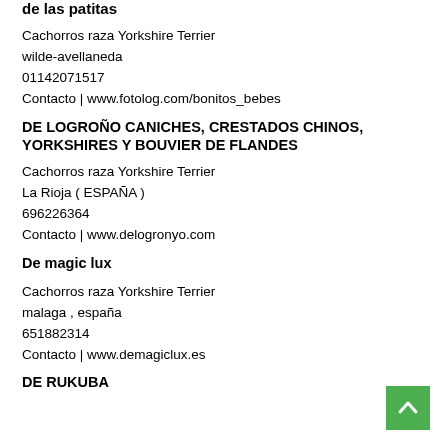de las patitas
Cachorros raza Yorkshire Terrier
wilde-avellaneda
01142071517
Contacto | www.fotolog.com/bonitos_bebes
DE LOGROÑO CANICHES, CRESTADOS CHINOS, YORKSHIRES Y BOUVIER DE FLANDES
Cachorros raza Yorkshire Terrier
La Rioja ( ESPAÑA )
696226364
Contacto | www.delogronyo.com
De magic lux
Cachorros raza Yorkshire Terrier
malaga , españa
651882314
Contacto | www.demagiclux.es
DE RUKUBA